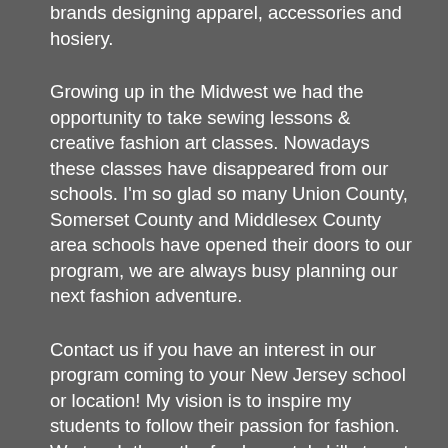brands designing apparel, accessories and hosiery.
Growing up in the Midwest we had the opportunity to take sewing lessons & creative fashion art classes. Nowadays these classes have disappeared from our schools. I'm so glad so many Union County, Somerset County and Middlesex County area schools have opened their doors to our program, we are always busy planning our next fashion adventure.
Contact us if you have an interest in our program coming to your New Jersey school or location! My vision is to inspire my students to follow their passion for fashion. We teach them the fundamental skills to not only learn how to sew and sketch but, also to build self esteem.This program is a great creative outlet